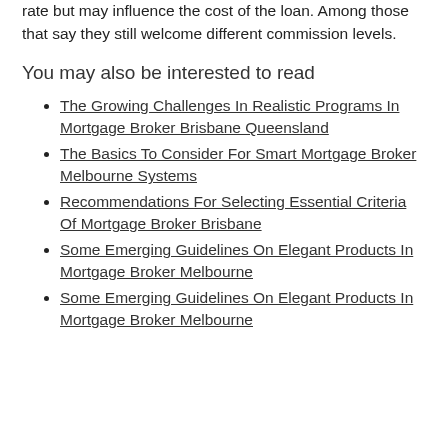rate but may influence the cost of the loan. Among those that say they still welcome different commission levels.
You may also be interested to read
The Growing Challenges In Realistic Programs In Mortgage Broker Brisbane Queensland
The Basics To Consider For Smart Mortgage Broker Melbourne Systems
Recommendations For Selecting Essential Criteria Of Mortgage Broker Brisbane
Some Emerging Guidelines On Elegant Products In Mortgage Broker Melbourne
Some Emerging Guidelines On Elegant Products In Mortgage Broker Melbourne